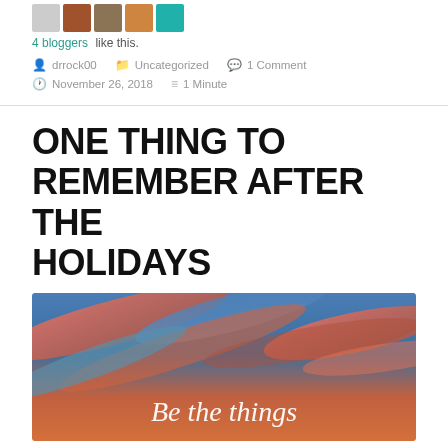4 bloggers like this.
drrock00   Uncategorized   1 Comment
November 26, 2018   1 Minute
ONE THING TO REMEMBER AFTER THE HOLIDAYS
[Figure (illustration): Sunset sky with orange and pink clouds against a blue sky background, with white italic text reading 'Be the things']